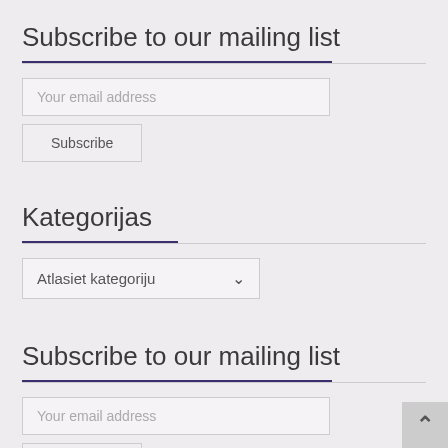Subscribe to our mailing list
Your email address
Subscribe
Kategorijas
Atlasiet kategoriju
Subscribe to our mailing list
Your email address
Subscribe